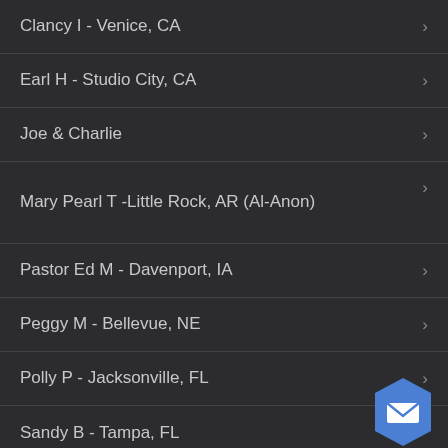Clancy I - Venice, CA
Earl H - Studio City, CA
Joe & Charlie
Mary Pearl T -Little Rock, AR (Al-Anon)
Pastor Ed M - Davenport, IA
Peggy M - Bellevue, NE
Polly P - Jacksonville, FL
Sandy B - Tampa, FL
[Figure (illustration): Blue hexagonal email/message FAB button with envelope icon]